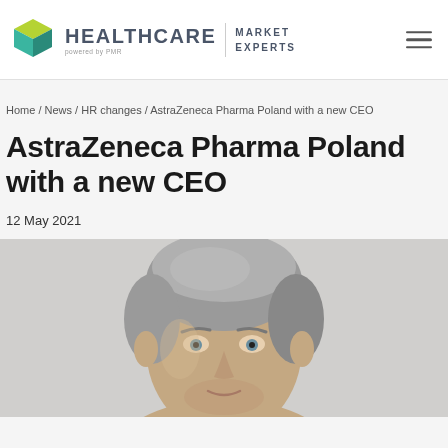HEALTHCARE MARKET EXPERTS powered by PMR
Home / News / HR changes / AstraZeneca Pharma Poland with a new CEO
AstraZeneca Pharma Poland with a new CEO
12 May 2021
[Figure (photo): Portrait photo of a middle-aged man with gray hair, cropped to show face and upper head, light gray background]